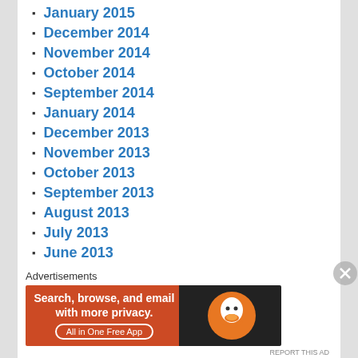January 2015
December 2014
November 2014
October 2014
September 2014
January 2014
December 2013
November 2013
October 2013
September 2013
August 2013
July 2013
June 2013
May 2013
April 2013
March 2013
February 2013
Advertisements
[Figure (screenshot): DuckDuckGo advertisement banner: orange background on left with text 'Search, browse, and email with more privacy. All in One Free App', dark background on right with DuckDuckGo logo (duck icon in orange circle)]